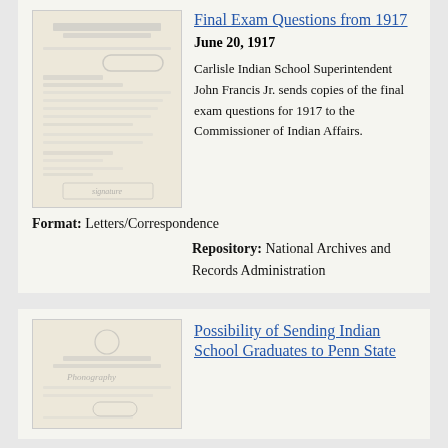Final Exam Questions from 1917
June 20, 1917
[Figure (photo): Scanned letter from Department of the Interior, United States Indian Service, dated 1917, with handwritten signature and stamps.]
Carlisle Indian School Superintendent John Francis Jr. sends copies of the final exam questions for 1917 to the Commissioner of Indian Affairs.
Format: Letters/Correspondence
Repository: National Archives and Records Administration
Possibility of Sending Indian School Graduates to Penn State
[Figure (photo): Scanned document from United States Indian Service with letterhead, stamp and handwriting.]